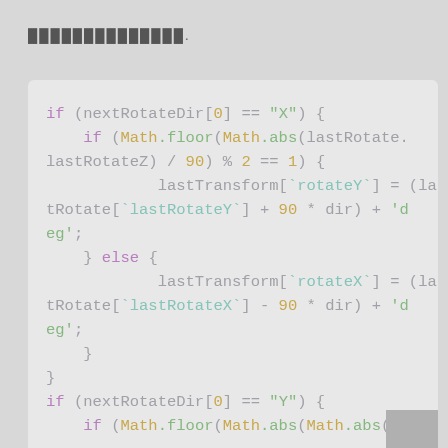██████████████.
[Figure (screenshot): Code block showing JavaScript if/else logic for rotation direction handling with syntax highlighting. Contains conditionals checking nextRotateDir[0] for 'X' and 'Y', computing Math.floor(Math.abs(...)) expressions and assigning lastTransform rotateY/rotateX values.]